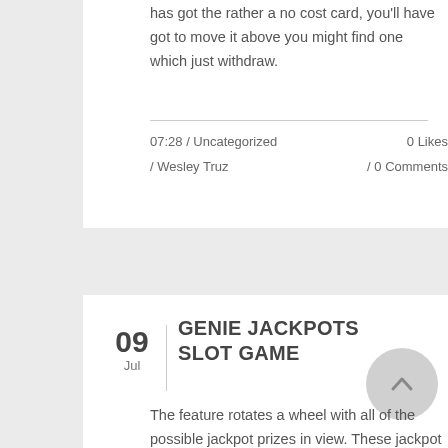has got the rather a no cost card, you'll have got to move it above you might find one which just withdraw.
07:28 / Uncategorized / Wesley Truz	0 Likes / 0 Comments
GENIE JACKPOTS SLOT GAME
The feature rotates a wheel with all of the possible jackpot prizes in view. These jackpot are all progressive so